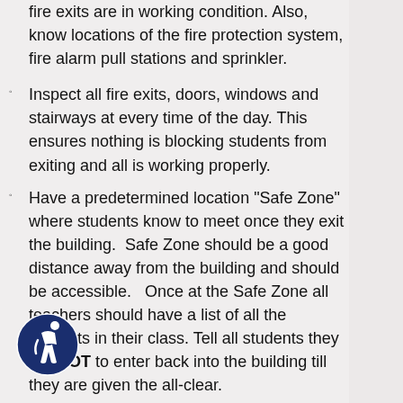fire exits are in working condition. Also, know locations of the fire protection system, fire alarm pull stations and sprinkler.
Inspect all fire exits, doors, windows and stairways at every time of the day. This ensures nothing is blocking students from exiting and all is working properly.
Have a predetermined location “Safe Zone” where students know to meet once they exit the building. Safe Zone should be a good distance away from the building and should be accessible. Once at the Safe Zone all teachers should have a list of all the students in their class. Tell all students they are NOT to enter back into the building till they are given the all-clear.
Post clear maps in every classroom that shows two or more escape routes in the event of a fire.
Teach students the basic of “stop, drip and roll”, getting low to the floor, and touching the door handle before opening doors.
Fire Safe Kids suggests teaching students the “Three Ps” (preparation, plan and practice). The